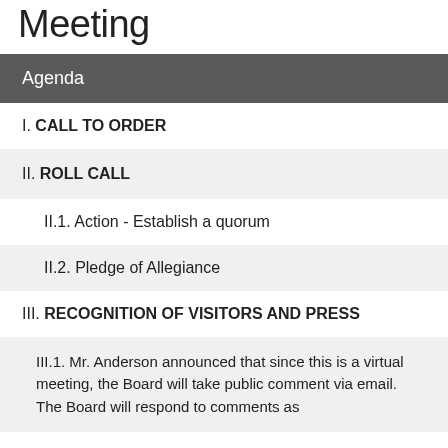Meeting
Agenda
I. CALL TO ORDER
II. ROLL CALL
II.1. Action - Establish a quorum
II.2. Pledge of Allegiance
III. RECOGNITION OF VISITORS AND PRESS
III.1. Mr. Anderson announced that since this is a virtual meeting, the Board will take public comment via email. The Board will respond to comments as